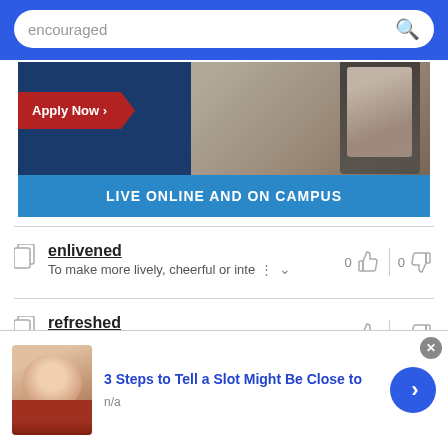encouraged
[Figure (screenshot): Advertisement banner for online and on-campus education with Apply Now button and image of student]
enlivened
To make more lively, cheerful or inte…
0 👍 | 0 👎
refreshed
Refresh is defined as to cool off, en…
0 👍 | 0 👎
[Figure (screenshot): Ad: 3 Steps to Tell a Slot Might Be Close to – n/a – with person photo and arrow button]